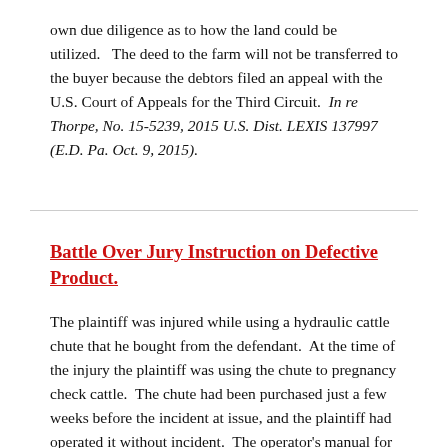own due diligence as to how the land could be utilized.   The deed to the farm will not be transferred to the buyer because the debtors filed an appeal with the U.S. Court of Appeals for the Third Circuit.  In re Thorpe, No. 15-5239, 2015 U.S. Dist. LEXIS 137997 (E.D. Pa. Oct. 9, 2015).
Battle Over Jury Instruction on Defective Product.
The plaintiff was injured while using a hydraulic cattle chute that he bought from the defendant.  At the time of the injury the plaintiff was using the chute to pregnancy check cattle.  The chute had been purchased just a few weeks before the incident at issue, and the plaintiff had operated it without incident.  The operator's manual for